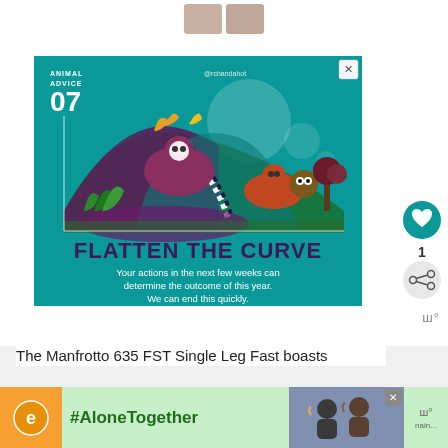[Figure (illustration): Top strip showing partial images of people/items at top of feed]
[Figure (infographic): Animal Advice 07 social media infographic with teal background, stylized animals forming a curve shape, text 'FLATTEN THE CURVE - Your actions in the next few weeks can determine the outcome of this year. We can end this quickly.' with @rchandahot attribution and close button X]
The Manfrotto 635 FST Single Leg Fast boasts
[Figure (photo): #AloneTogether advertisement banner with green background, orange user icon, and photo of couple waving]
nain...